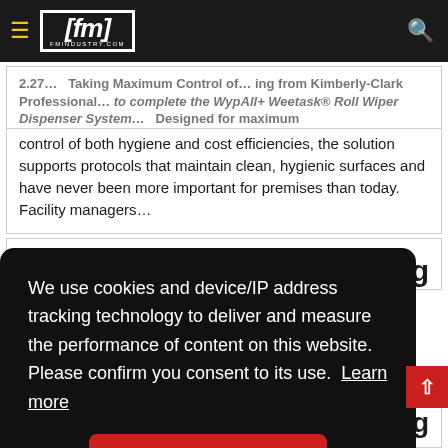fm fmindustry.com
2.27… Taking Maximum Control of … ing from Kimberly-Clark Professional… the to complete the WypAll+ Weetask Roll Wiper Dispenser System…
Designed for maximum control of both hygiene and cost efficiencies, the solution supports protocols that maintain clean, hygienic surfaces and have never been more important for premises than today.  Facility managers…
We use cookies and device/IP address tracking technology to deliver and measure the performance of content on this website. Please confirm you consent to its use.  Learn more
Got it
ing
Segment Appointment ISS has appointed Sebastian